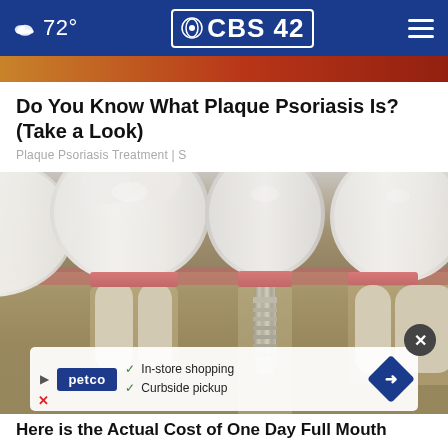72° CBS 42
Do You Know What Plaque Psoriasis Is? (Take a Look)
Plaque Psoriasis Treatment | S
[Figure (photo): Medical illustration of dental implants showing a cross-section of teeth in the jawbone with one implant screw visible in the center, surrounded by natural teeth with gum tissue and bone structure]
In-store shopping
Curbside pickup
Here is the Actual Cost of One Day Full Mouth